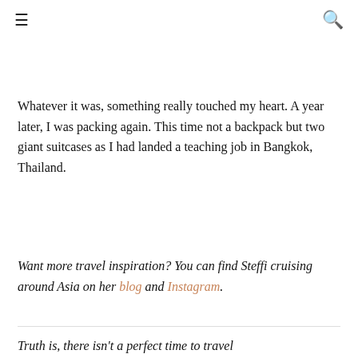☰  🔍
learning curve about cultures and countries and history.
Whatever it was, something really touched my heart. A year later, I was packing again. This time not a backpack but two giant suitcases as I had landed a teaching job in Bangkok, Thailand.
Want more travel inspiration? You can find Steffi cruising around Asia on her blog and Instagram.
Truth is, there isn't a perfect time to travel